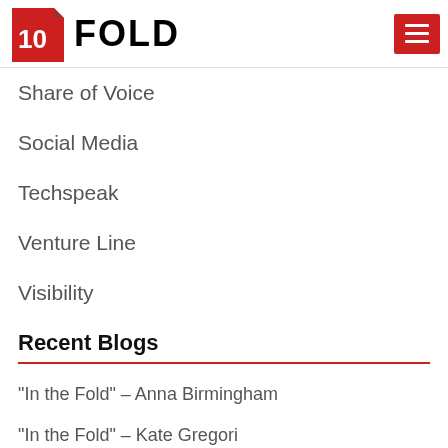10FOLD
Share of Voice
Social Media
Techspeak
Venture Line
Visibility
Recent Blogs
“In the Fold” – Anna Birmingham
“In the Fold” – Kate Gregori